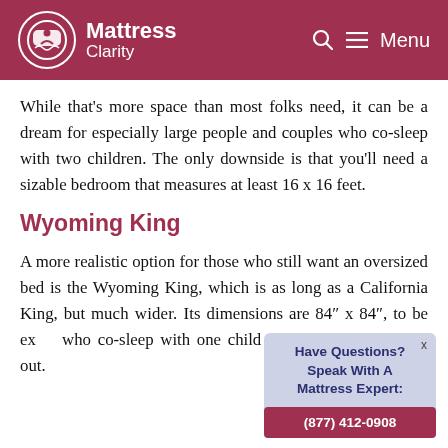Mattress Clarity
While that’s more space than most folks need, it can be a dream for especially large people and couples who co-sleep with two children. The only downside is that you’ll need a sizable bedroom that measures at least 16 x 16 feet.
Wyoming King
A more realistic option for those who still want an oversized bed is the Wyoming King, which is as long as a California King, but much wider. Its dimensions are 84″ x 84″, to be ex... who co-sleep with one child migh... check it out.
[Figure (other): Popup widget: Have Questions? Speak With A Mattress Expert: (877) 412-0908]